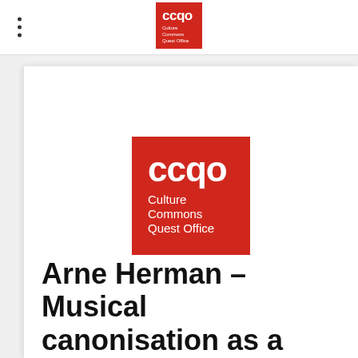[Figure (logo): CCQO Culture Commons Quest Office logo - small, in top navigation bar]
[Figure (logo): CCQO Culture Commons Quest Office logo - large, centered in white card area]
Arne Herman – Musical canonisation as a